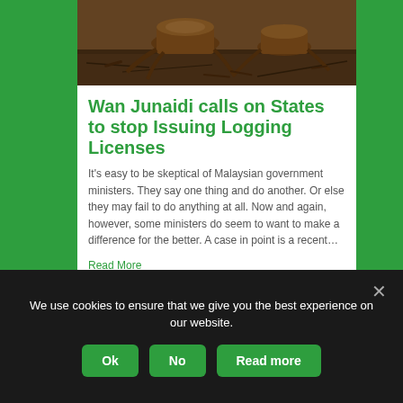[Figure (photo): Deforested area showing tree stumps and cleared forest floor with roots and debris]
Wan Junaidi calls on States to stop Issuing Logging Licenses
It's easy to be skeptical of Malaysian government ministers. They say one thing and do another. Or else they may fail to do anything at all. Now and again, however, some ministers do seem to want to make a difference for the better. A case in point is a recent…
Read More
[Figure (photo): Green forest canopy viewed from above or at canopy level]
We use cookies to ensure that we give you the best experience on our website.